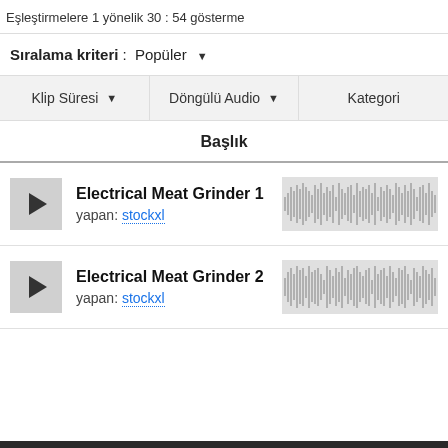Eşleştirmelere 1 yönelik 30 : 54 gösterme
Sıralama kriteri : Popüler
Klip Süresi   Döngülü Audio   Kategori
Başlık
Electrical Meat Grinder 1
yapan: stockxl
Electrical Meat Grinder 2
yapan: stockxl
Electrical Meat Grinder 1